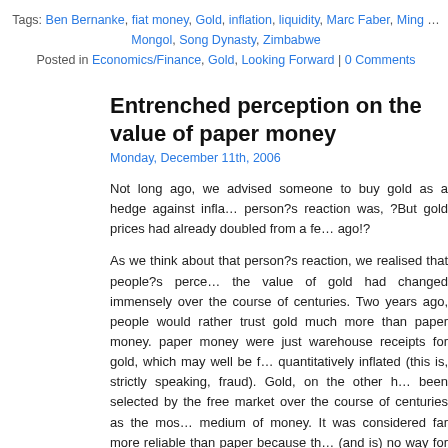Tags: Ben Bernanke, fiat money, Gold, inflation, liquidity, Marc Faber, Ming … Mongol, Song Dynasty, Zimbabwe
Posted in Economics/Finance, Gold, Looking Forward | 0 Comments
Entrenched perception on the value of paper money
Monday, December 11th, 2006
Not long ago, we advised someone to buy gold as a hedge against infla... person?s reaction was, ?But gold prices had already doubled from a fe... ago!?
As we think about that person?s reaction, we realised that people?s perce... the value of gold had changed immensely over the course of centuries. Two years ago, people would rather trust gold much more than paper money. ... paper money were just warehouse receipts for gold, which may well be f... quantitatively inflated (this is, strictly speaking, fraud). Gold, on the other h... been selected by the free market over the course of centuries as the mos... medium of money. It was considered far more reliable than paper because th... (and is) no way for anyone to easily inflate the supply of it at will (other tha... for it, which require significant time and effort).
Today, people?s entrenched perceptions are completely different. Some... some strange reason, paper currency (with today?s technology, they can ex... form of digital information) is mistakenly seen to be the more reliable store... It has come to the point that even the value of gold is measured in terms... currency. As we said before in How is inflation sabotaging our ability to mea... value of things?, how can we measure the value of something by usin...